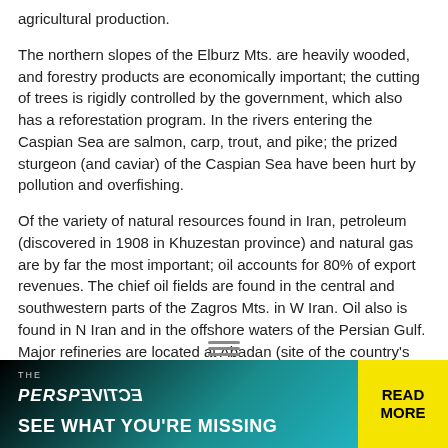agricultural production.
The northern slopes of the Elburz Mts. are heavily wooded, and forestry products are economically important; the cutting of trees is rigidly controlled by the government, which also has a reforestation program. In the rivers entering the Caspian Sea are salmon, carp, trout, and pike; the prized sturgeon (and caviar) of the Caspian Sea have been hurt by pollution and overfishing.
Of the variety of natural resources found in Iran, petroleum (discovered in 1908 in Khuzestan province) and natural gas are by far the most important; oil accounts for 80% of export revenues. The chief oil fields are found in the central and southwestern parts of the Zagros Mts. in W Iran. Oil also is found in N Iran and in the offshore waters of the Persian Gulf. Major refineries are located at Abadan (site of the country's first refinery, built 1913), Kermanshah, Tehran, and Bandar Abbas. Pipelines move oil from the fields to the refineries and to such exporting ports as Abadan, Bandar-e Mashur, and Khark Island. Domestic oil and gas, along with hydroelectric power facilities, provide the country with power.
Textiles are the second most important industrial product; Tehran and
[Figure (infographic): Advertisement banner: THE PERSPECTIVE - SEE WHAT YOU'RE MISSING - READ MORE]